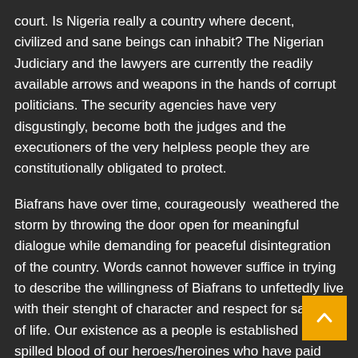court. Is Nigeria really a country where decent, civilized and sane beings can inhabit? The Nigerian Judiciary and the lawyers are currently the readily available arrows and weapons in the hands of corrupt politicians. The security agencies have very disgustingly, become both the judges and the executioners of the very helpless people they are constitutionally obligated to protect.
Biafrans have over time, courageously  weathered the storm by throwing the door open for meaningful dialogue while demanding for peaceful disintegration of the country. Words cannot however suffice in trying to describe the willingness of Biafrans to unfettedly live with their stenght of character and respect for sanctity of life. Our existence as a people is established on the spilled blood of our heroes/heroines who have paid the ultimate prize defending their loved ones.
Our hope hinges on our bond to live and not on our physical strength. We will never prevaricate on our sworn quest for freedom from the enslavement of neo-